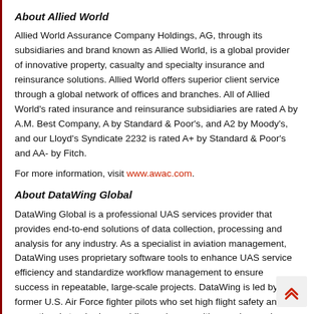About Allied World
Allied World Assurance Company Holdings, AG, through its subsidiaries and brand known as Allied World, is a global provider of innovative property, casualty and specialty insurance and reinsurance solutions. Allied World offers superior client service through a global network of offices and branches. All of Allied World's rated insurance and reinsurance subsidiaries are rated A by A.M. Best Company, A by Standard & Poor's, and A2 by Moody's, and our Lloyd's Syndicate 2232 is rated A+ by Standard & Poor's and AA- by Fitch.
For more information, visit www.awac.com.
About DataWing Global
DataWing Global is a professional UAS services provider that provides end-to-end solutions of data collection, processing and analysis for any industry. As a specialist in aviation management, DataWing uses proprietary software tools to enhance UAS service efficiency and standardize workflow management to ensure success in repeatable, large-scale projects. DataWing is led by former U.S. Air Force fighter pilots who set high flight safety and operational standards, providing end users with superior service.
For more information, visit www.datawingglobal.com.